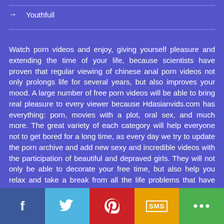→  Youthfull
Watch porn videos and enjoy, giving yourself pleasure and extending the time of your life, because scientists have proven that regular viewing of chinese anal porn videos not only prolongs life for several years, but also improves your mood. A large number of free porn videos will be able to bring real pleasure to every viewer because Hdasianvids.com has everything: porn, movies with a plot, oral sex, and much more. The great variety of each category will help everyone not to get bored for a long time, as every day we try to update the porn archive and add new sexy and incredible videos with the participation of beautiful and depraved girls. They will not only be able to decorate your free time, but also help you relax and take a break from all the life problems that have piled on during a hard day. We have collected only the most beautiful, challenging, and
f  [twitter]  [pinterest]  SMS  [share]